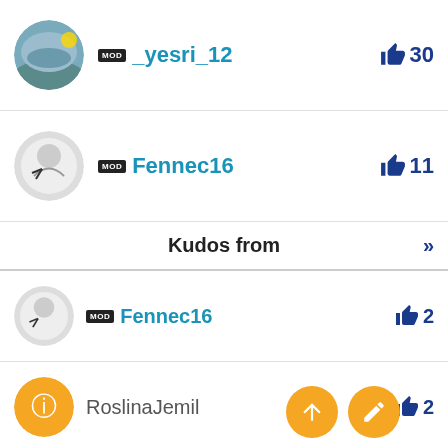MOD _yesri_12 👍 30
MOD Fennec16 👍 11
Kudos from »
MOD Fennec16 👍 2
RoslinaJemil 👍 2
MOD She321 👍 1
MOD 3D_Ackerman 👍 1